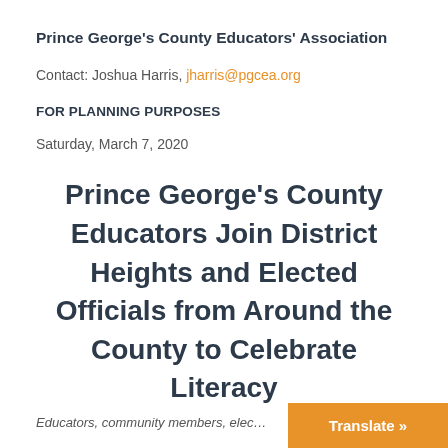Prince George's County Educators' Association
Contact: Joshua Harris, jharris@pgcea.org
FOR PLANNING PURPOSES
Saturday, March 7, 2020
Prince George's County Educators Join District Heights and Elected Officials from Around the County to Celebrate Literacy
Educators, community members, elec…